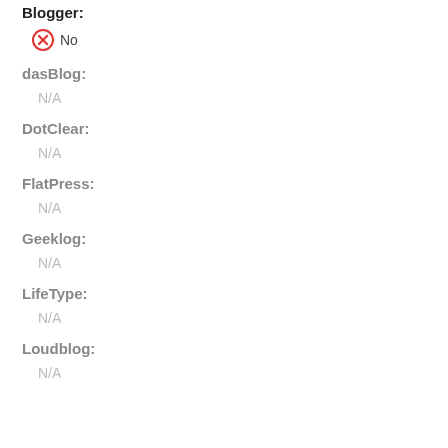Blogger:
No
dasBlog:
N/A
DotClear:
N/A
FlatPress:
N/A
Geeklog:
N/A
LifeType:
N/A
Loudblog:
N/A